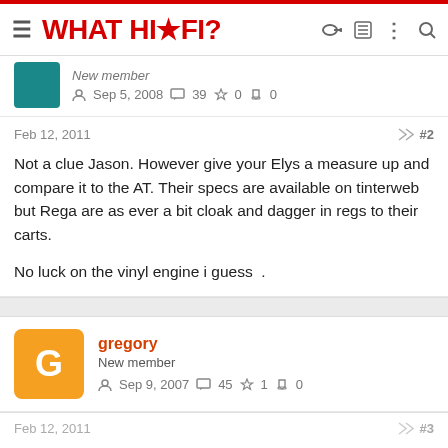WHAT HI·FI?
New member
Sep 5, 2008   39   0   0
Feb 12, 2011   #2
Not a clue Jason. However give your Elys a measure up and compare it to the AT. Their specs are available on tinterweb but Rega are as ever a bit cloak and dagger in regs to their carts.

No luck on the vinyl engine i guess .
gregory
New member
Sep 9, 2007   45   1   0
Feb 12, 2011   #3